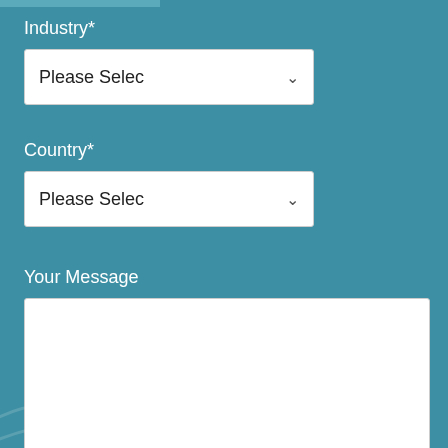Industry*
[Figure (screenshot): Dropdown selector showing 'Please Selec' with a down arrow, for Industry field]
Country*
[Figure (screenshot): Dropdown selector showing 'Please Selec' with a down arrow, for Country field]
Your Message
[Figure (screenshot): Empty white textarea for 'Your Message' with resize handle in bottom right corner]